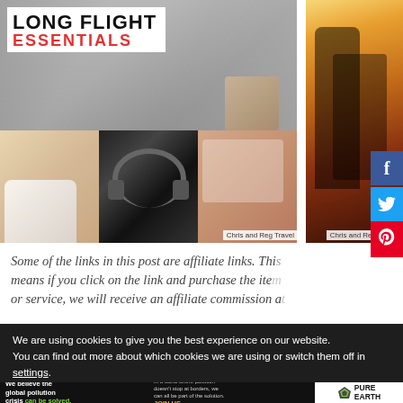[Figure (photo): Collage of travel photos with 'LONG FLIGHT ESSENTIALS' text overlay, showing headphones, tablet, shoes, and in-flight scenes. Credit: Chris and Reg Travel]
[Figure (photo): Person sitting in airplane seat with sunlight streaming through window. Credit: Chris and Reg Travel]
Some of the links in this post are affiliate links. This means if you click on the link and purchase the item or service, we will receive an affiliate commission at
We are using cookies to give you the best experience on our website.
You can find out more about which cookies we are using or switch them off in settings.
[Figure (infographic): Pure Earth advertisement: We believe the global pollution crisis can be solved. In a world where pollution doesn't stop at borders, we can all be part of the solution. JOIN US.]